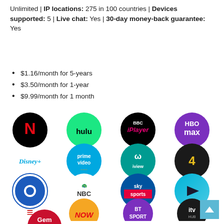Unlimited | IP locations: 275 in 100 countries | Devices supported: 5 | Live chat: Yes | 30-day money-back guarantee: Yes
$1.16/month for 5-years
$3.50/month for 1-year
$9.99/month for 1 month
[Figure (infographic): Grid of streaming service logos: Netflix, Hulu, BBC iPlayer, HBO Max, Disney+, Prime Video, ABC iview, Channel 4, CBS, NBC, Sky Sports, (play button icon), ESPN, NOW, BT Sport, ITV Hub, Gem]